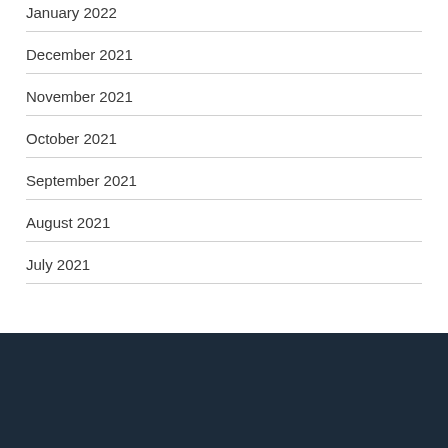January 2022
December 2021
November 2021
October 2021
September 2021
August 2021
July 2021